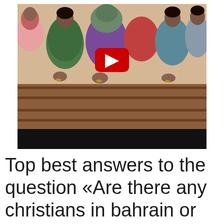[Figure (photo): A group of people, mostly women wearing colorful head scarves and saris, praying with hands clasped together in what appears to be a church setting with wooden pews. A red YouTube play button overlay is visible in the center of the image. A black bar appears at the bottom of the image area.]
Top best answers to the question «Are there any christians in bahrain or kuwait»